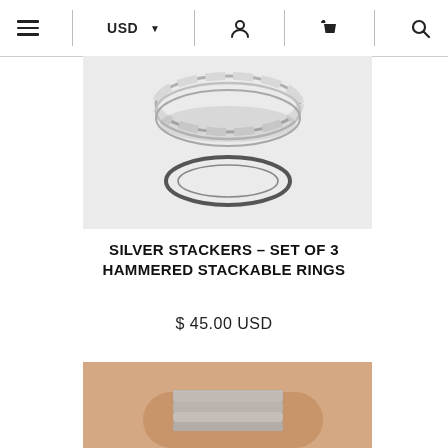Navigation bar with menu, USD currency selector, user icon, cart icon, and search icon
[Figure (photo): Close-up photo of silver hammered stackable rings on a white background — one stacked ring at top and one flat ring below]
SILVER STACKERS – SET OF 3 HAMMERED STACKABLE RINGS
$ 45.00 USD
[Figure (photo): Close-up photo of a finger wearing a wide silver stacker ring made of multiple hammered bands]